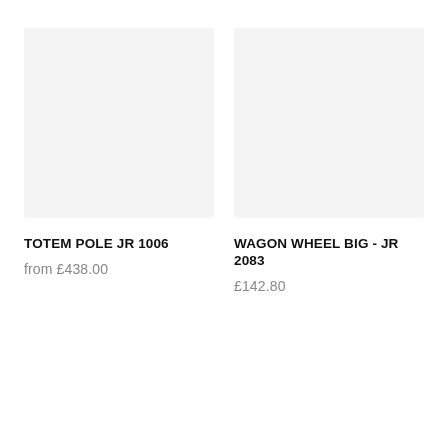[Figure (photo): Product image placeholder for TOTEM POLE JR 1006 — light grey rectangle]
TOTEM POLE JR 1006
from £438.00
[Figure (photo): Product image placeholder for WAGON WHEEL BIG - JR 2083 — light grey rectangle]
WAGON WHEEL BIG - JR 2083
£142.80